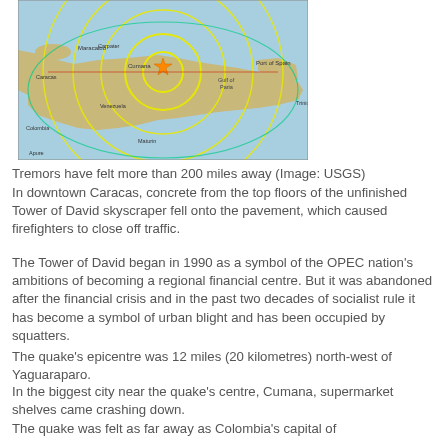[Figure (map): USGS earthquake map showing epicenter northwest of Yaguaraparo, Venezuela, with yellow concentric circles indicating felt intensity radiating outward. The map shows northern Venezuela, part of Colombia, and Trinidad. An orange star marks the epicenter near Cumana.]
Tremors have felt more than 200 miles away (Image: USGS)
In downtown Caracas, concrete from the top floors of the unfinished Tower of David skyscraper fell onto the pavement, which caused firefighters to close off traffic.
The Tower of David began in 1990 as a symbol of the OPEC nation's ambitions of becoming a regional financial centre. But it was abandoned after the financial crisis and in the past two decades of socialist rule it has become a symbol of urban blight and has been occupied by squatters.
The quake's epicentre was 12 miles (20 kilometres) north-west of Yaguaraparo.
In the biggest city near the quake's centre, Cumana, supermarket shelves came crashing down.
The quake was felt as far away as Colombia's capital of